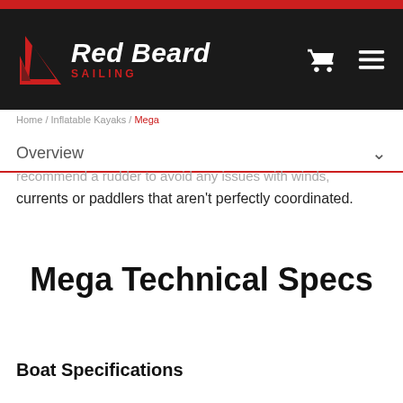[Figure (logo): Red Beard Sailing logo with red sail icon and white bold italic text on dark background navigation header]
Home / ... / Kayaks / Mega
Overview
...recommend a rudder to avoid any issues with winds, currents or paddlers that aren't perfectly coordinated.
Mega Technical Specs
Boat Specifications